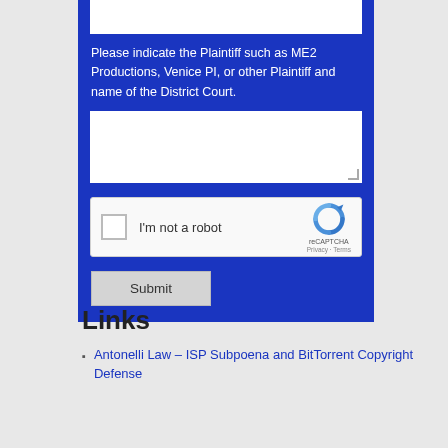Please indicate the Plaintiff such as ME2 Productions, Venice PI, or other Plaintiff and name of the District Court.
[Figure (screenshot): reCAPTCHA widget with checkbox labeled 'I'm not a robot' and reCAPTCHA logo with Privacy and Terms links]
Submit
Links
Antonelli Law – ISP Subpoena and BitTorrent Copyright Defense